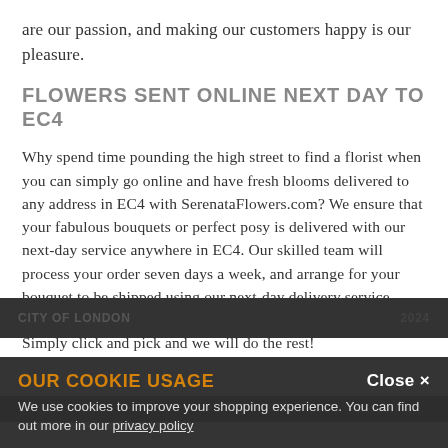are our passion, and making our customers happy is our pleasure.
FLOWERS SENT ONLINE NEXT DAY TO EC4
Why spend time pounding the high street to find a florist when you can simply go online and have fresh blooms delivered to any address in EC4 with SerenataFlowers.com? We ensure that your fabulous bouquets or perfect posy is delivered with our next-day service anywhere in EC4. Our skilled team will process your order seven days a week, and arrange for your bouquet to be shipped using our next-day delivery service. Choose from a single rose or a dazzling display of dahlias! Simply click and pick and we will do the rest!
OUR COOKIE USAGE
We use cookies to improve your shopping experience. You can find out more in our privacy policy
Close ×